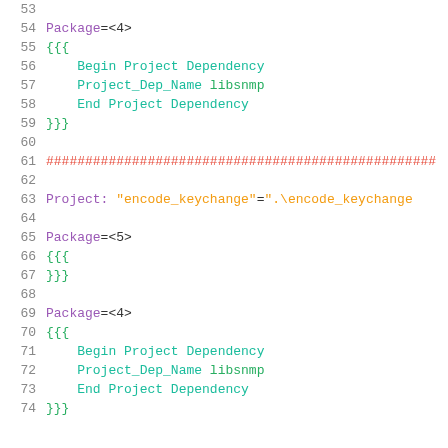53  (empty line)
54  Package=<4>
55  {{{
56      Begin Project Dependency
57      Project_Dep_Name libsnmp
58      End Project Dependency
59  }}}
60  (empty line)
61  ##################################################
62  (empty line)
63  Project: "encode_keychange"=".\encode_keychange
64  (empty line)
65  Package=<5>
66  {{{
67  }}}
68  (empty line)
69  Package=<4>
70  {{{
71      Begin Project Dependency
72      Project_Dep_Name libsnmp
73      End Project Dependency
74  }}}